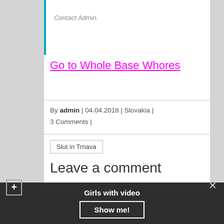Contact Admin.
Go to Whole Base Whores
By admin | 04.04.2018 | Slovakia | 3 Comments |
Slut in Trnava
Leave a comment
Girls with video
Show me!